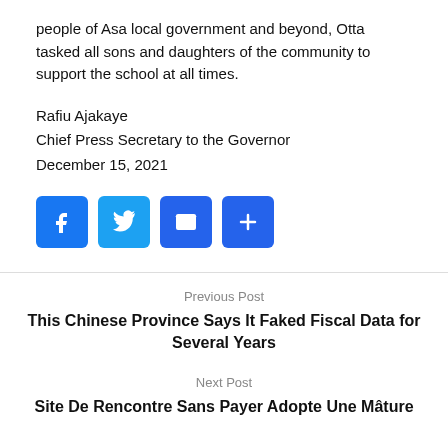people of Asa local government and beyond, Otta tasked all sons and daughters of the community to support the school at all times.
Rafiu Ajakaye
Chief Press Secretary to the Governor
December 15, 2021
[Figure (other): Social sharing buttons: Facebook (blue), Twitter (blue), Email (blue), More/Plus (blue)]
Previous Post
This Chinese Province Says It Faked Fiscal Data for Several Years
Next Post
Site De Rencontre Sans Payer Adopte Une Mâture